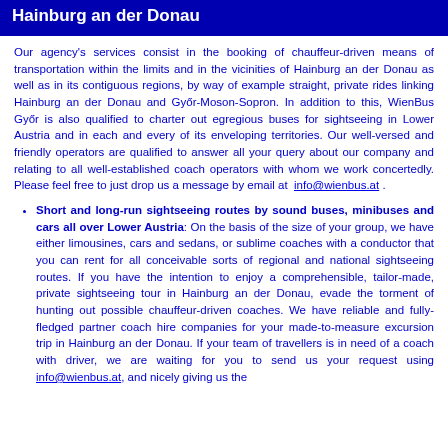Hainburg an der Donau
Our agency's services consist in the booking of chauffeur-driven means of transportation within the limits and in the vicinities of Hainburg an der Donau as well as in its contiguous regions, by way of example straight, private rides linking Hainburg an der Donau and Győr-Moson-Sopron. In addition to this, WienBus Győr is also qualified to charter out egregious buses for sightseeing in Lower Austria and in each and every of its enveloping territories. Our well-versed and friendly operators are qualified to answer all your query about our company and relating to all well-established coach operators with whom we work concertedly. Please feel free to just drop us a message by email at info@wienbus.at .
Short and long-run sightseeing routes by sound buses, minibuses and cars all over Lower Austria: On the basis of the size of your group, we have either limousines, cars and sedans, or sublime coaches with a conductor that you can rent for all conceivable sorts of regional and national sightseeing routes. If you have the intention to enjoy a comprehensible, tailor-made, private sightseeing tour in Hainburg an der Donau, evade the torment of hunting out possible chauffeur-driven coaches. We have reliable and fully-fledged partner coach hire companies for your made-to-measure excursion trip in Hainburg an der Donau. If your team of travellers is in need of a coach with driver, we are waiting for you to send us your request using info@wienbus.at, and nicely giving us the